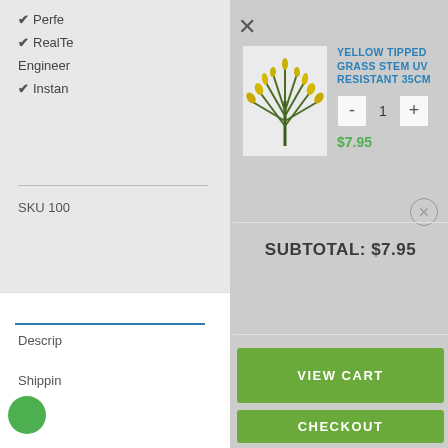✔ Perfe
✔ RealTe
Engineer
✔ Instan
SKU 100
[Figure (photo): Yellow tipped grass stem plant product photo on light grey background]
YELLOW TIPPED GRASS STEM UV RESISTANT 35CM
$7.95
SUBTOTAL: $7.95
VIEW CART
CHECKOUT
Descrip
Shippin